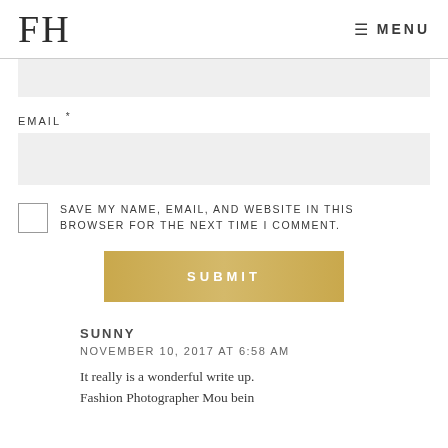FH  MENU
[Figure (screenshot): Gray input field (top, partially visible) for a form]
EMAIL *
[Figure (screenshot): Gray input field for email address]
SAVE MY NAME, EMAIL, AND WEBSITE IN THIS BROWSER FOR THE NEXT TIME I COMMENT.
[Figure (screenshot): Gold/tan Submit button]
SUNNY
NOVEMBER 10, 2017 AT 6:58 AM
It really is a wonderful write up.